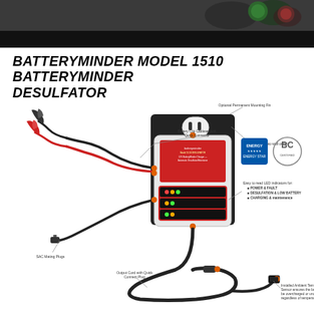[Figure (photo): Top banner image showing battery-related products with green and red labels, dark background]
BATTERYMINDER MODEL 1510 BATTERYMINDER DESULFATOR
[Figure (engineering-diagram): Product diagram of BatteryMinder Model 1510 showing: Battery Clip Cableset with Quick Connector, Optional Permanent Mounting Fin, SAC Mating Plugs, Output Cord with Quick Connect Plug, Plugs into wall outlet, Easy to read LED indicators for POWER & FAULT / DESULFATION & LOW BATTERY / CHARGING & maintenance, Installed Ambient Temperature Sensor ensures the battery will never be overcharged or undercharged regardless of temperature extremes. Energy Star and BC certification logos shown.]